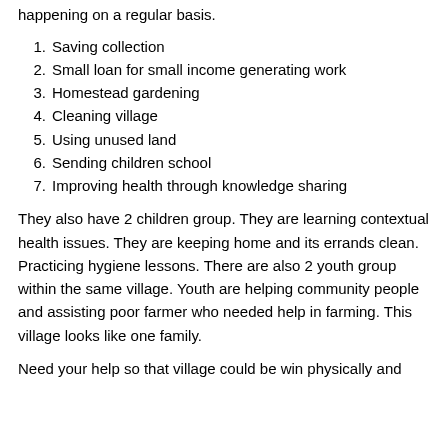happening on a regular basis.
1. Saving collection
2. Small loan for small income generating work
3. Homestead gardening
4. Cleaning village
5. Using unused land
6. Sending children school
7. Improving health through knowledge sharing
They also have 2 children group. They are learning contextual health issues. They are keeping home and its errands clean. Practicing hygiene lessons. There are also 2 youth group within the same village. Youth are helping community people and assisting poor farmer who needed help in farming. This village looks like one family.
Need your help so that village could be win physically and